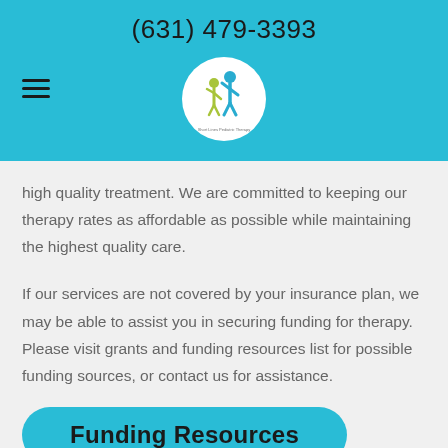(631) 479-3393
[Figure (logo): Circular white logo with colorful figures (adult and child) and text below]
high quality treatment. We are committed to keeping our therapy rates as affordable as possible while maintaining the highest quality care.
If our services are not covered by your insurance plan, we may be able to assist you in securing funding for therapy. Please visit grants and funding resources list for possible funding sources, or contact us for assistance.
Funding Resources